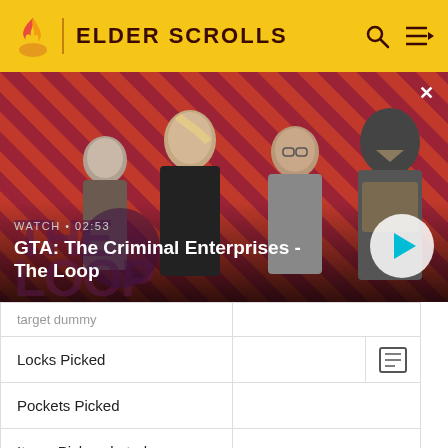ELDER SCROLLS
[Figure (screenshot): GTA: The Criminal Enterprises - The Loop video thumbnail showing characters on red diagonal striped background. Text: WATCH • 02:53, GTA: The Criminal Enterprises - The Loop]
| (truncated row) |  |
| --- | --- |
| Locks Picked |  |
| Pockets Picked |  |
| Items Pickpocketed |  |
|  |  |